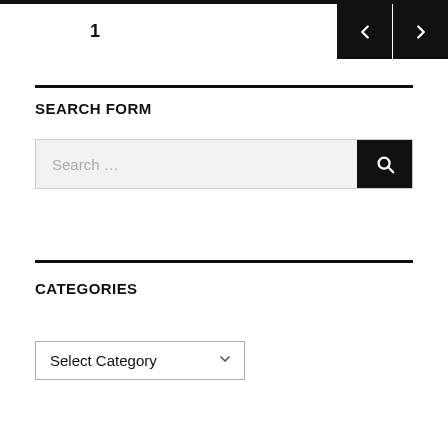1
SEARCH FORM
Search ...
CATEGORIES
Select Category